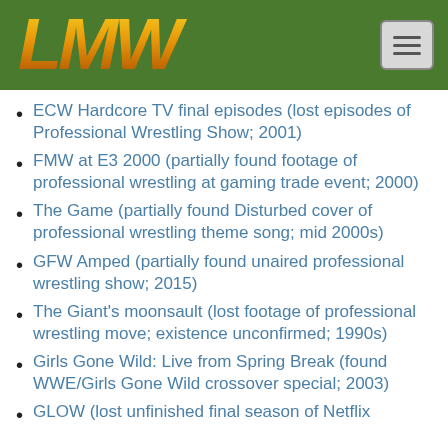LMW
ECW Hardcore TV final episodes (lost episodes of Professional Wrestling Show; 2001)
FMW at E3 2000 (partially found footage of professional wrestling at gaming trade event; 2000)
The Game (partially found Disturbed cover of professional wrestling theme song; mid 2000s)
GFW Amped (partially found unaired professional wrestling show; 2015)
The Giant's moonsault (lost footage of professional wrestling move; existence unconfirmed; 1990s)
Girls Gone Wild: Live from Spring Break (found WWE/Girls Gone Wild crossover special; 2003)
GLOW (lost unfinished final season of Netflix